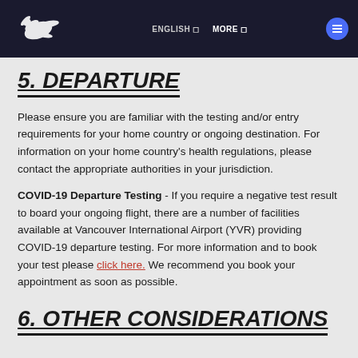ENGLISH | MORE
5. DEPARTURE
Please ensure you are familiar with the testing and/or entry requirements for your home country or ongoing destination. For information on your home country's health regulations, please contact the appropriate authorities in your jurisdiction.
COVID-19 Departure Testing - If you require a negative test result to board your ongoing flight, there are a number of facilities available at Vancouver International Airport (YVR) providing COVID-19 departure testing. For more information and to book your test please click here. We recommend you book your appointment as soon as possible.
6. OTHER CONSIDERATIONS